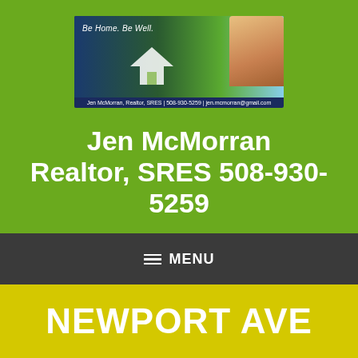[Figure (photo): Banner image showing 'Be Home. Be Well.' slogan with a house graphic on a green background, a woman's photo on the right, and contact info 'Jen McMorran, Realtor, SRES | 508-930-5259 | jen.mcmorran@gmail.com' on a dark blue footer bar]
Jen McMorran Realtor, SRES 508-930-5259
≡ MENU
NEWPORT AVE